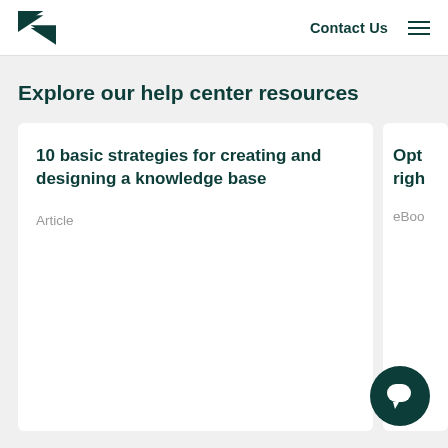Zendesk logo | Contact Us | Menu
Explore our help center resources
10 basic strategies for creating and designing a knowledge base
Article
Opt... righ...
eBoo...